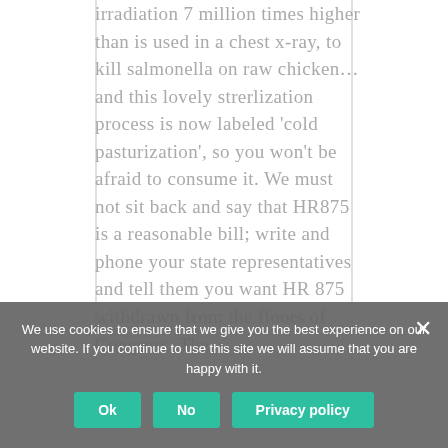irradiation 7 million times higher than is used in a chest x-ray, to kill salmonella on raw chicken… and this lovely strerlization process is now labeled 'cold pasturization', so you won't be afraid to consume it. We must not sit back and say that HR875 is a reasonable bill; write and phone your state representatives and tell them you want HR 875 withdrawn from the floors of Congress. The
We use cookies to ensure that we give you the best experience on our website. If you continue to use this site we will assume that you are happy with it.